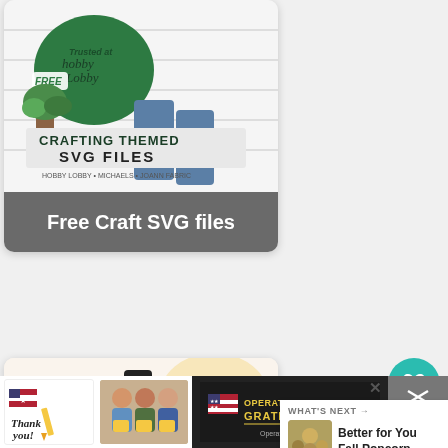[Figure (screenshot): Screenshot of a Pinterest-style webpage showing craft content cards, social buttons, a 'WHAT'S NEXT' panel, and an Operation Gratitude advertisement banner at the bottom.]
Free Craft SVG files
[Figure (photo): Thumbnail image for 'Free Crafting Themed SVG Files' with a green t-shirt and text about Hobby Lobby, Michaels, JoAnn Fabric]
Craft and Sew with classes from Creative
[Figure (photo): Thumbnail for Creative Classes - Unlimited access to creative classes taught by passionate crafters]
[Figure (other): Heart/like button (teal circle with heart icon)]
[Figure (other): Share button (gray circle with share icon)]
WHAT'S NEXT →
Better for You Fall Popcorn...
[Figure (photo): Thumbnail for Better for You Fall Popcorn recipe]
Operation Gratitude advertisement banner with 'Thank you!' text, photos of people, and Operation Gratitude logo